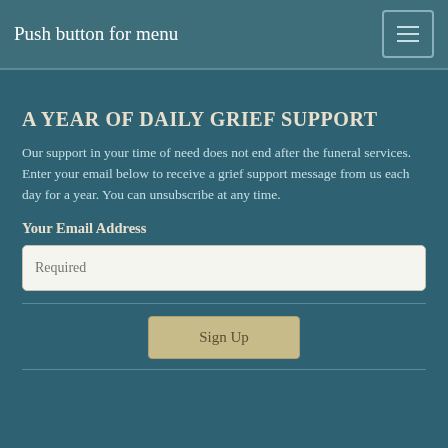Push button for menu
A YEAR OF DAILY GRIEF SUPPORT
Our support in your time of need does not end after the funeral services. Enter your email below to receive a grief support message from us each day for a year. You can unsubscribe at any time.
Your Email Address
Required
Sign Up
© 2022 Cyril F. Mullins Funeral Home Inc. All Rights Reserved. Funeral Home website by CFS & TA | Terms of Use | Privacy Policy | Accessibility